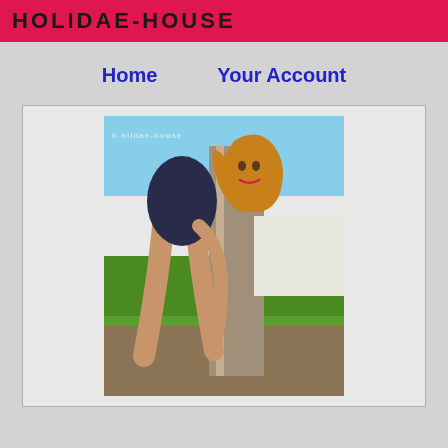HOLIDAE-HOUSE
Home    Your Account
[Figure (photo): Woman in dark top posing outdoors next to a tree, with green grass and blue sky in background. Watermark text 'holidae-house' visible on image.]